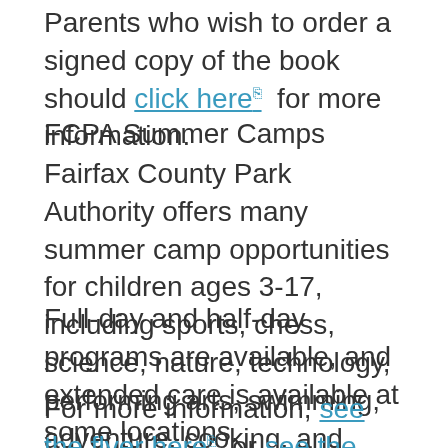Parents who wish to order a signed copy of the book should click here for more information.
FCPA Summer Camps
Fairfax County Park Authority offers many summer camp opportunities for children ages 3-17, including sports, chess, science, nature, technology, performing arts, swimming, adventure, cooking, and more!
Full-day and half-day programs are available, and extended care is available at some locations.
For more information, see the flyer here or see the camp guide here. To register, go to the FCPA website here